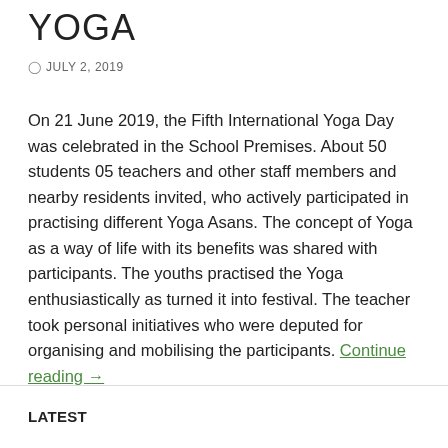YOGA
JULY 2, 2019
On 21 June 2019, the Fifth International Yoga Day was celebrated in the School Premises. About 50 students 05 teachers and other staff members and nearby residents invited, who actively participated in practising different Yoga Asans. The concept of Yoga as a way of life with its benefits was shared with participants. The youths practised the Yoga enthusiastically as turned it into festival. The teacher took personal initiatives who were deputed for organising and mobilising the participants. Continue reading →
LATEST